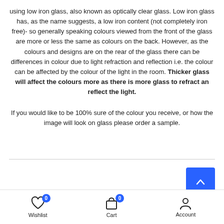using low iron glass, also known as optically clear glass. Low iron glass has, as the name suggests, a low iron content (not completely iron free)- so generally speaking colours viewed from the front of the glass are more or less the same as colours on the back. However, as the colours and designs are on the rear of the glass there can be differences in colour due to light refraction and reflection i.e. the colour can be affected by the colour of the light in the room. Thicker glass will affect the colours more as there is more glass to refract an reflect the light.

If you would like to be 100% sure of the colour you receive, or how the image will look on glass please order a sample.
Wishlist 0  Cart 0  Account